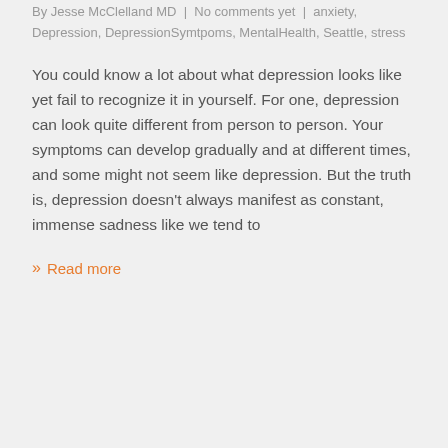By Jesse McClelland MD | No comments yet | anxiety, Depression, DepressionSymtpoms, MentalHealth, Seattle, stress
You could know a lot about what depression looks like yet fail to recognize it in yourself. For one, depression can look quite different from person to person. Your symptoms can develop gradually and at different times, and some might not seem like depression. But the truth is, depression doesn't always manifest as constant, immense sadness like we tend to
Read more